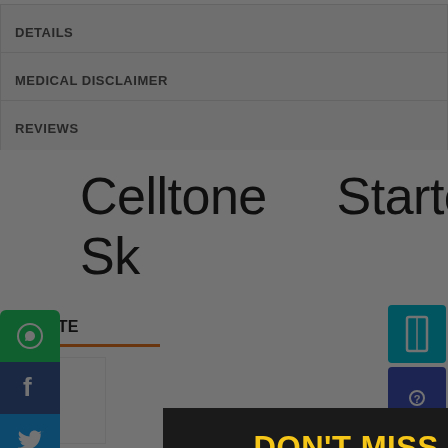DETAILS
MEDICAL DISCLAIMER
REVIEWS
Celltone   Starter   Pac  Sk
RELATE
[Figure (screenshot): Modal popup overlay with dark background. Contains bold yellow heading 'DON'T MISS OUT', white text 'Get 15% off your first order when you sign', an email address input field placeholder, and a yellow button labeled 'GET 15% OFF']
DON'T MISS OUT
Get 15% off your first order when you sign
Email address
GET 15% OFF